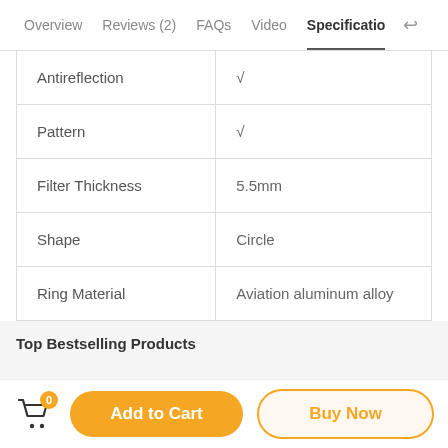Overview  Reviews (2)  FAQs  Video  Specifications
| Antireflection | √ |
| Pattern | √ |
| Filter Thickness | 5.5mm |
| Shape | Circle |
| Ring Material | Aviation aluminum alloy |
Top Bestselling Products
Add to Cart  Buy Now